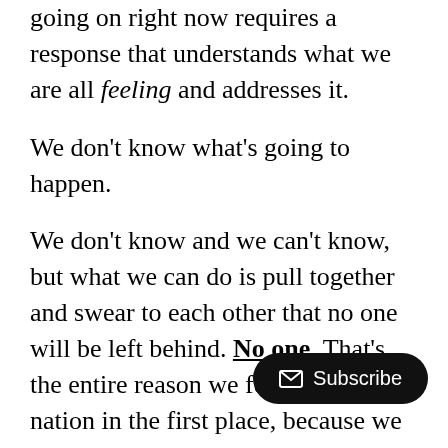going on right now requires a response that understands what we are all feeling and addresses it.
We don't know what's going to happen.
We don't know and we can't know, but what we can do is pull together and swear to each other that no one will be left behind. No one. That's the entire reason we founded this nation in the first place, because we knew we were stronger together than as individuals all on our own.
Now is the time to reaffirm our founding principles. None of us are on our own. We're Americans and we refuse to let one person suffer because that one person could be us. We will